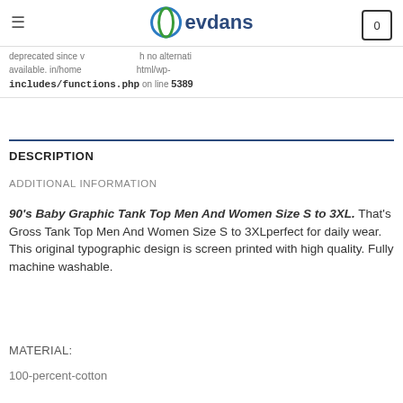devdans
deprecated since v... h no alternati... available. in/home ... html/wp- includes/functions.php on line 5389
DESCRIPTION
ADDITIONAL INFORMATION
90's Baby Graphic Tank Top Men And Women Size S to 3XL. That's Gross Tank Top Men And Women Size S to 3XLperfect for daily wear. This original typographic design is screen printed with high quality. Fully machine washable.
MATERIAL:
100-percent-cotton